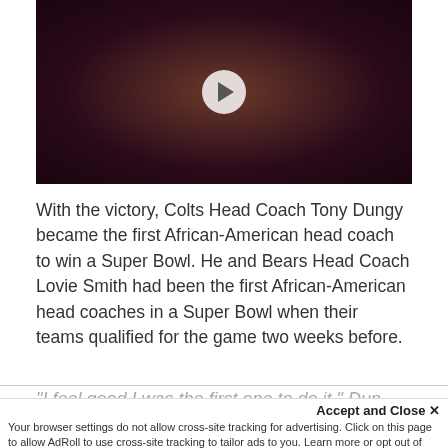[Figure (screenshot): Video thumbnail showing someone holding a trophy (Super Bowl Lombardi Trophy) with a play button overlay. Dark maroon/brown background.]
With the victory, Colts Head Coach Tony Dungy became the first African-American head coach to win a Super Bowl. He and Bears Head Coach Lovie Smith had been the first African-American head coaches in a Super Bowl when their teams qualified for the game two weeks before.
"I feel good I was the first one to do it," Dun
Accept and Close ×
Your browser settings do not allow cross-site tracking for advertising. Click on this page to allow AdRoll to use cross-site tracking to tailor ads to you. Learn more or opt out of this AdRoll tracking by clicking here. This message only appears once.